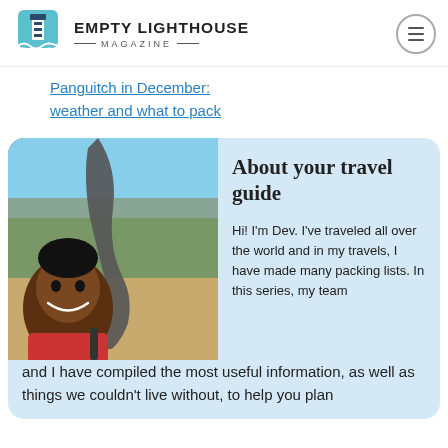EMPTY LIGHTHOUSE MAGAZINE
Panguitch in December: weather and what to pack
[Figure (photo): Man taking a selfie with an elephant trunk touching his head, outdoor wildlife setting with trees in background]
About your travel guide
Hi! I'm Dev. I've traveled all over the world and in my travels, I have made many packing lists. In this series, my team and I have compiled the most useful information, as well as things we couldn't live without, to help you plan